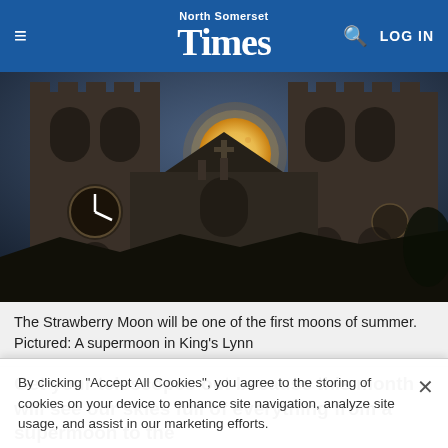North Somerset Times — LOG IN
[Figure (photo): Night photograph of a church with two stone towers and a full moon (Strawberry Moon / supermoon) glowing golden in the dark blue sky between the towers. A clock is visible on the left tower.]
The Strawberry Moon will be one of the first moons of summer. Pictured: A supermoon in King's Lynn
Get your telescopes out because this month will see our skies full of everything from a supermoon to the
By clicking "Accept All Cookies", you agree to the storing of cookies on your device to enhance site navigation, analyze site usage, and assist in our marketing efforts.